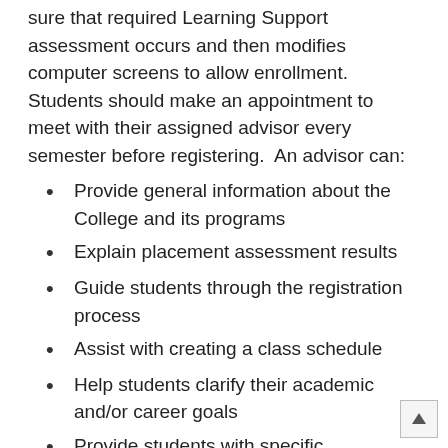sure that required Learning Support assessment occurs and then modifies computer screens to allow enrollment.  Students should make an appointment to meet with their assigned advisor every semester before registering.  An advisor can:
Provide general information about the College and its programs
Explain placement assessment results
Guide students through the registration process
Assist with creating a class schedule
Help students clarify their academic and/or career goals
Provide students with specific information regarding transfer of courses to other colleges and universities
Assist in explaining an unofficial audit of degree